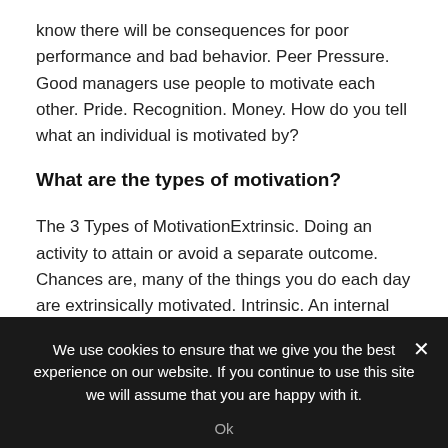know there will be consequences for poor performance and bad behavior. Peer Pressure. Good managers use people to motivate each other. Pride. Recognition. Money. How do you tell what an individual is motivated by?
What are the types of motivation?
The 3 Types of MotivationExtrinsic. Doing an activity to attain or avoid a separate outcome. Chances are, many of the things you do each day are extrinsically motivated. Intrinsic. An internal drive for success or sense of purpose.
We use cookies to ensure that we give you the best experience on our website. If you continue to use this site we will assume that you are happy with it.
Ok